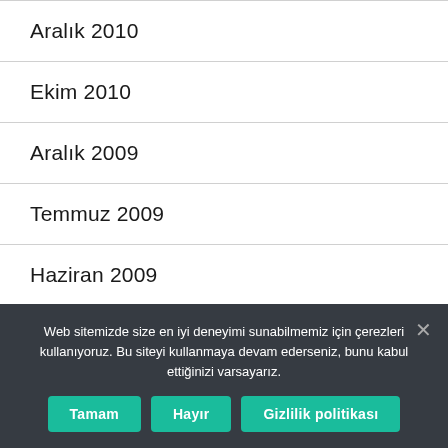Aralık 2010
Ekim 2010
Aralık 2009
Temmuz 2009
Haziran 2009
Mart 2009
Web sitemizde size en iyi deneyimi sunabilmemiz için çerezleri kullanıyoruz. Bu siteyi kullanmaya devam ederseniz, bunu kabul ettiğinizi varsayarız.
Tamam | Hayır | Gizlilik politikası